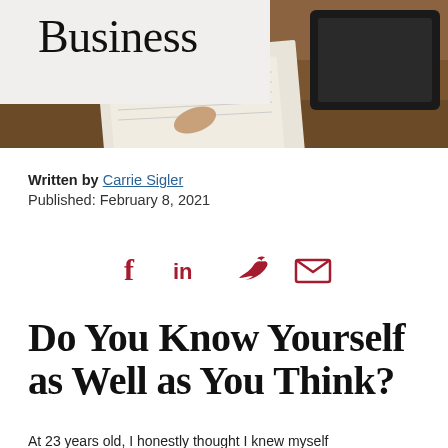[Figure (photo): Hero image of a person writing on paper with a tablet on a wooden desk, with a white overlay box in the top-left corner]
Business
Written by Carrie Sigler
Published: February 8, 2021
[Figure (infographic): Social sharing icons: Facebook, LinkedIn, Twitter, Email in dark red/crimson color]
Do You Know Yourself as Well as You Think?
At 23 years old, I honestly thought I knew myself...